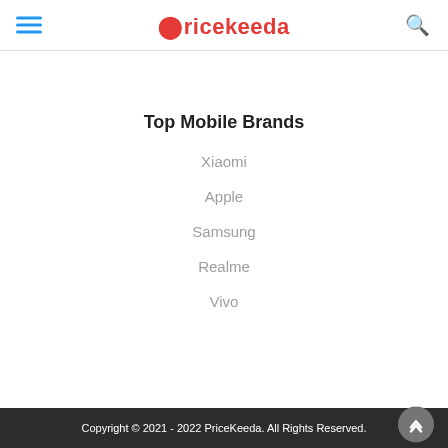Pricekeeda
Top Mobile Brands
Xiaomi
Apple
Samsung
Realme
Vivo
Copyright © 2021 - 2022 PriceKeeda. All Rights Reserved.